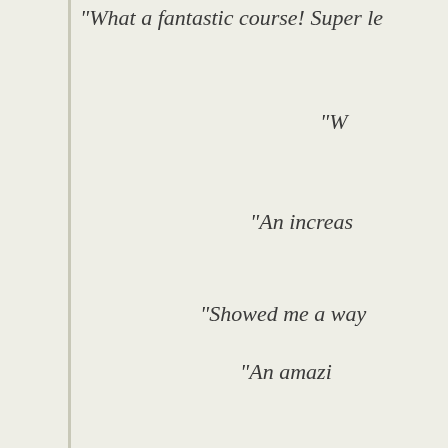“What a fantastic course! Super le…
“W…
“An increas…
“Showed me a way…
“An amazi…
“Would…
“…
“Michael was engaging, humerus and p…
“The Business NLP Academy provided an e…